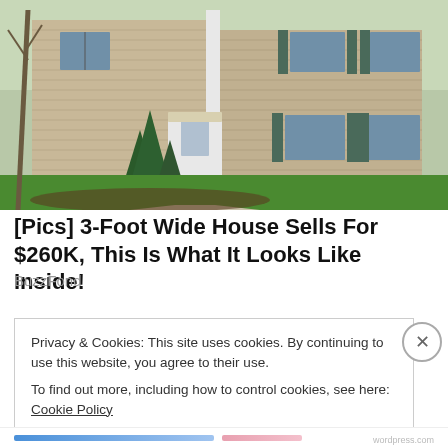[Figure (photo): Exterior photo of a two-story beige/tan colonial-style house with green shutters, white front door, evergreen shrubs, and green lawn. Trees visible in background.]
[Pics] 3-Foot Wide House Sells For $260K, This Is What It Looks Like Inside!
BuzzFond
Privacy & Cookies: This site uses cookies. By continuing to use this website, you agree to their use.
To find out more, including how to control cookies, see here: Cookie Policy